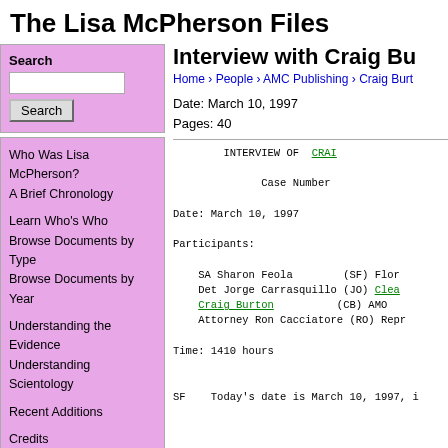The Lisa McPherson Files
Search
Who Was Lisa McPherson?
A Brief Chronology
Learn Who's Who
Browse Documents by Type
Browse Documents by Year
Understanding the Evidence
Understanding Scientology
Recent Additions
Credits
Feedback and Contact Info
lisamcpherson.org
Site created by Kristi Wachter, creator of the Scientology Lies site
Interview with Craig Bu
Home › People › AMC Publishing › Craig Burt
Date: March 10, 1997
Pages: 40
INTERVIEW OF CRAIG

Case Number

Date: March 10, 1997

Participants:

    SA Sharon Feola        (SF) Flor
    Det Jorge Carrasquillo (JO) Clea
    Craig Burton           (CB) AMO
    Attorney Ron Cacciatore (RO) Repr

Time: 1410 hours


SF    Today's date is March 10, 1997, i